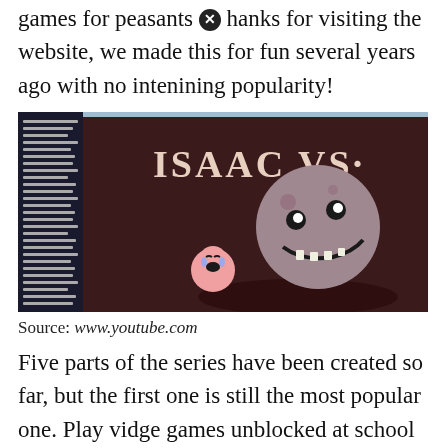games for peasants [x] hanks for visiting the website, we made this for fun several years ago with no intenining popularity!
[Figure (screenshot): Screenshot of a YouTube page showing a game called 'Isaac VS.' with cartoon characters - a moon-like monster and a small pink character.]
Source: www.youtube.com
Five parts of the series have been created so far, but the first one is still the most popular one. Play vidge games unblocked at school lots of games unblocked games the games all of the games they're unblocked specifically for peasants for peasants, by peasant [x] ugfp unblocked